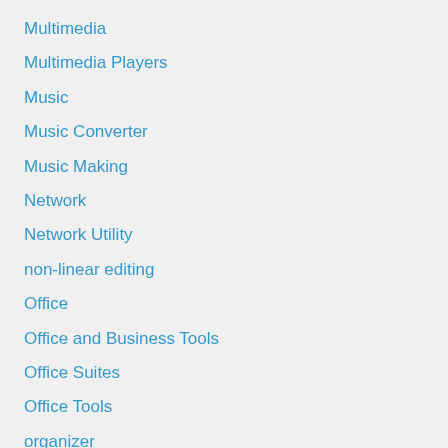Multimedia
Multimedia Players
Music
Music Converter
Music Making
Network
Network Utility
non-linear editing
Office
Office and Business Tools
Office Suites
Office Tools
organizer
Painter
painting tool